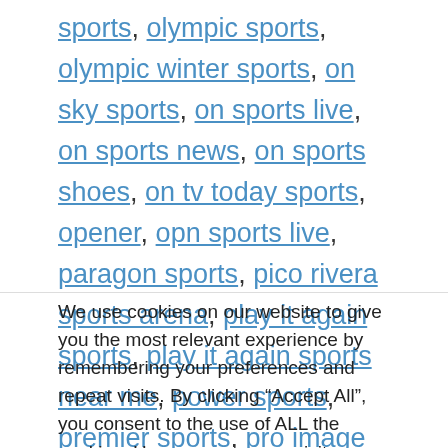sports, olympic sports, olympic winter sports, on sky sports, on sports live, on sports news, on sports shoes, on tv today sports, opener, opn sports live, paragon sports, pico rivera sports arena, play it again sports, play it again sports near me, power sports, premier sports, pro image sports, ptv sports, ptv sports apk, ptv sports live match 2021, qatar
We use cookies on our website to give you the most relevant experience by remembering your preferences and repeat visits. By clicking "Accept All", you consent to the use of ALL the cookies. However, you may visit "Cookie Settings" to provide a controlled consent.